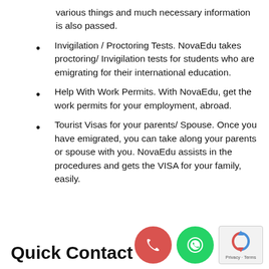various things and much necessary information is also passed.
Invigilation / Proctoring Tests. NovaEdu takes proctoring/ Invigilation tests for students who are emigrating for their international education.
Help With Work Permits. With NovaEdu, get the work permits for your employment, abroad.
Tourist Visas for your parents/ Spouse. Once you have emigrated, you can take along your parents or spouse with you. NovaEdu assists in the procedures and gets the VISA for your family, easily.
Quick Contact
[Figure (other): Phone call icon (red circle), WhatsApp icon (green circle), and reCAPTCHA privacy widget]